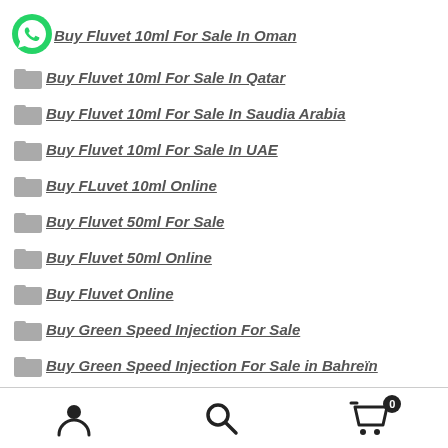Buy Fluvet 10ml For Sale In Oman
Buy Fluvet 10ml For Sale In Qatar
Buy Fluvet 10ml For Sale In Saudia Arabia
Buy Fluvet 10ml For Sale In UAE
Buy FLuvet 10ml Online
Buy Fluvet 50ml For Sale
Buy Fluvet 50ml Online
Buy Fluvet Online
Buy Green Speed Injection For Sale
Buy Green Speed Injection For Sale in Bahreïn
Buy Green Speed Injection For Sale In Koweït
User | Search | Cart (0)